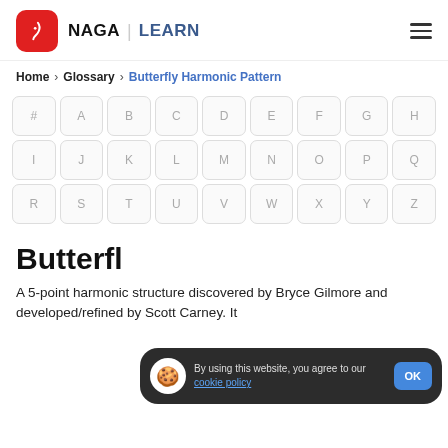NAGA | LEARN
Home > Glossary > Butterfly Harmonic Pattern
[Figure (other): Alphabet navigation grid with letters #, A-Z arranged in 3 rows of 9 buttons]
Butterfly Harmonic Pattern
A 5-point harmonic structure discovered by Bryce Gilmore and developed/refined by Scott Carney. It
[Figure (other): Cookie consent banner: 'By using this website, you agree to our cookie policy' with OK button]